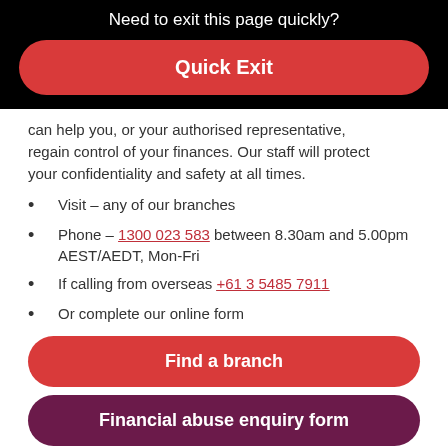Need to exit this page quickly?
Quick Exit
can help you, or your authorised representative, regain control of your finances. Our staff will protect your confidentiality and safety at all times.
Visit – any of our branches
Phone – 1300 023 583 between 8.30am and 5.00pm AEST/AEDT, Mon-Fri
If calling from overseas +61 3 5485 7911
Or complete our online form
Find a branch
Financial abuse enquiry form